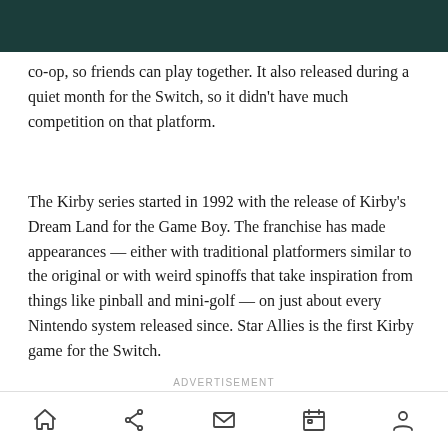co-op, so friends can play together. It also released during a quiet month for the Switch, so it didn't have much competition on that platform.
The Kirby series started in 1992 with the release of Kirby's Dream Land for the Game Boy. The franchise has made appearances — either with traditional platformers similar to the original or with weird spinoffs that take inspiration from things like pinball and mini-golf — on just about every Nintendo system released since. Star Allies is the first Kirby game for the Switch.
ADVERTISEMENT